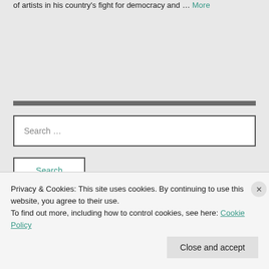of artists in his country's fight for democracy and … More
Search …
Search
Privacy & Cookies: This site uses cookies. By continuing to use this website, you agree to their use.
To find out more, including how to control cookies, see here: Cookie Policy
Close and accept